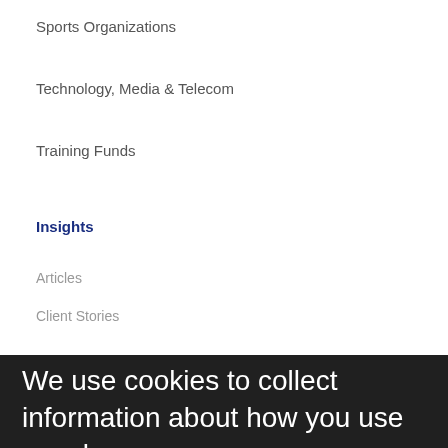Sports Organizations
Technology, Media & Telecom
Training Funds
Insights
Articles
Client Stories
Compliance News
Reports and Surveys
Segal News
Webinars and Events
About
DEI
We use cookies to collect information about how you use segalco.com. We use this information to make the website work as well as possible and improve our offering to you.
✕ Close